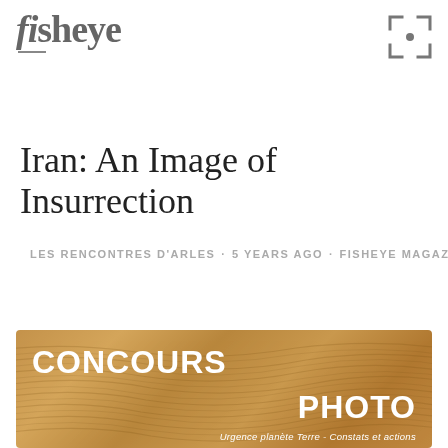fisheye
Iran: An Image of Insurrection
LES RENCONTRES D'ARLES · 5 YEARS AGO · FISHEYE MAGAZINE
[Figure (illustration): Banner advertisement for a photo contest (CONCOURS PHOTO) with sandy dune texture background and white bold text. Text reads: CONCOURS PHOTO — Urgence planète Terre - Constats et actions]